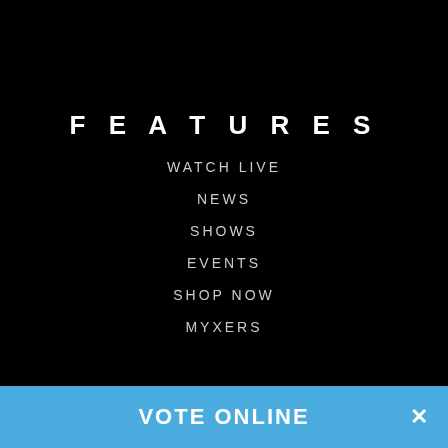FEATURES
WATCH LIVE
NEWS
SHOWS
EVENTS
SHOP NOW
MYXERS
LINKS
ABS-CBN
TFC
KOLLECTIVE HUSTLE
VOTE ONLINE ✕